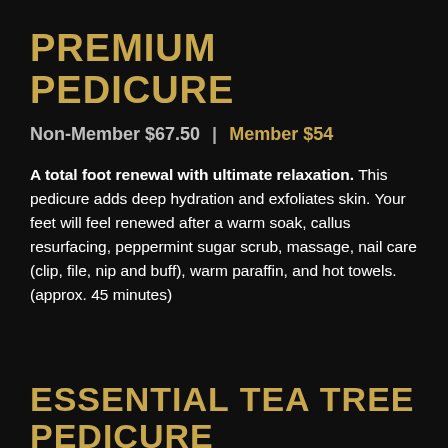PREMIUM PEDICURE
Non-Member $67.50  |  Member $54
A total foot renewal with ultimate relaxation. This pedicure adds deep hydration and exfoliates skin. Your feet will feel renewed after a warm soak, callus resurfacing, peppermint sugar scrub, massage, nail care (clip, file, nip and buff), warm paraffin, and hot towels. (approx. 45 minutes)
ESSENTIAL TEA TREE PEDICURE
Non-Member $90  |  Member $72